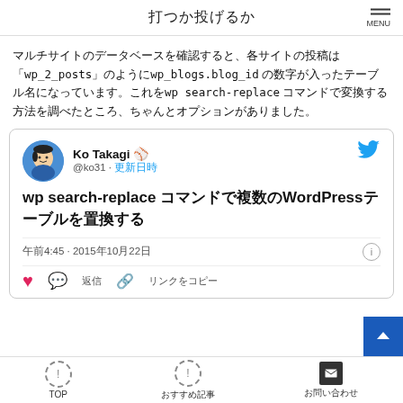打つか投げるか
マルチサイトのデータベースを確認すると、各サイトの投稿は「wp_2_posts」のようにwp_blogs.blog_id の数字が入ったテーブル名になっています。これをwp search-replace コマンドで変換する方法を調べたところ、ちゃんとオプションがありました。
[Figure (screenshot): Embedded tweet from Ko Takagi (@ko31) showing 'wp search-replace コマンドで複数のWordPressテーブルを置換する' with timestamp 午前4:45 · 2015年10月22日]
TOP　おすすめ記事　お問い合わせ